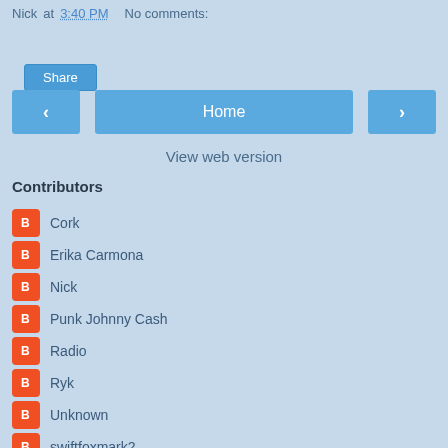Nick at 3:40 PM   No comments:
Share
< Home >
View web version
Contributors
Cork
Erika Carmona
Nick
Punk Johnny Cash
Radio
Ryk
Unknown
swiftfoxmark2
Powered by Blogger